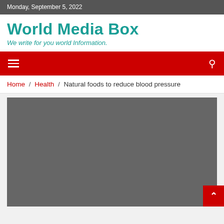Monday, September 5, 2022
World Media Box
We write for you world Information.
[Figure (screenshot): Red navigation bar with hamburger menu icon on left and search icon on right]
Home / Health / Natural foods to reduce blood pressure
[Figure (photo): Large dark gray placeholder image for article about natural foods to reduce blood pressure]